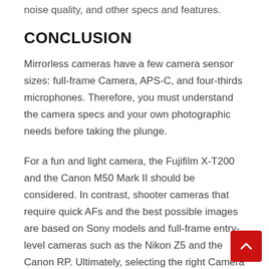noise quality, and other specs and features.
CONCLUSION
Mirrorless cameras have a few camera sensor sizes: full-frame Camera, APS-C, and four-thirds microphones. Therefore, you must understand the camera specs and your own photographic needs before taking the plunge.
For a fun and light camera, the Fujifilm X-T200 and the Canon M50 Mark II should be considered. In contrast, shooter cameras that require quick AFs and the best possible images are based on Sony models and full-frame entry-level cameras such as the Nikon Z5 and the Canon RP. Ultimately, selecting the right Camera is more about understanding the Camera's limitations than ticking off a list of features.